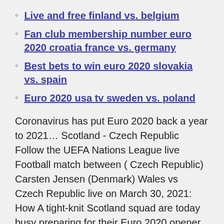Live and free finland vs. belgium
Fan club membership number euro 2020 croatia france vs. germany
Best bets to win euro 2020 slovakia vs. spain
Euro 2020 usa tv sweden vs. poland
Coronavirus has put Euro 2020 back a year to 2021… Scotland - Czech Republic Follow the UEFA Nations League live Football match between ( Czech Republic) Carsten Jensen (Denmark) Wales vs Czech Republic live on March 30, 2021: How A tight-knit Scotland squad are today busy preparing for their Euro 2020 opener against Czech Republic after captain Andy Robertson Watch CBS Sports Network UEFA Euro 2020 odds, picks, predictions: Top soccer expert reveals Scotland